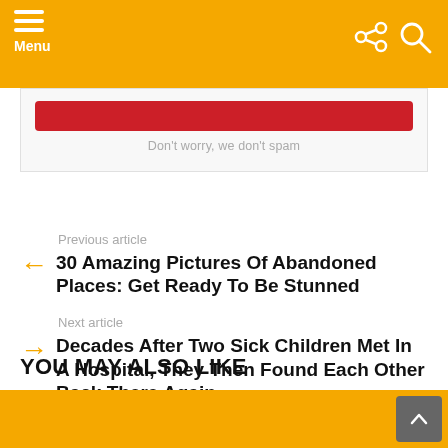Menu
Don't worry, we don't spam
Previous article
30 Amazing Pictures Of Abandoned Places: Get Ready To Be Stunned
Next article
Decades After Two Sick Children Met In A Hospital, They Then Found Each Other Back There Again
YOU MAY ALSO LIKE